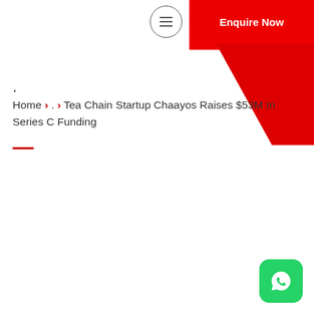[Figure (other): Hamburger menu icon inside a circle and a red Enquire Now button in the top navigation bar]
[Figure (other): Red diagonal/parallelogram decorative shape in top-right corner]
·
Home › . › Tea Chain Startup Chaayos Raises $53M In Series C Funding
[Figure (logo): WhatsApp icon button (green rounded square with white phone handset logo) in bottom-right corner]